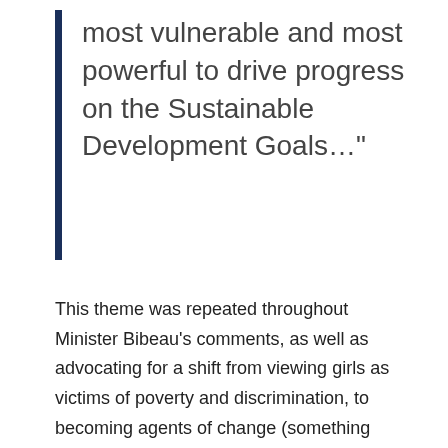most vulnerable and most powerful to drive progress on the Sustainable Development Goals…"
This theme was repeated throughout Minister Bibeau's comments, as well as advocating for a shift from viewing girls as victims of poverty and discrimination, to becoming agents of change (something we've commented on before).